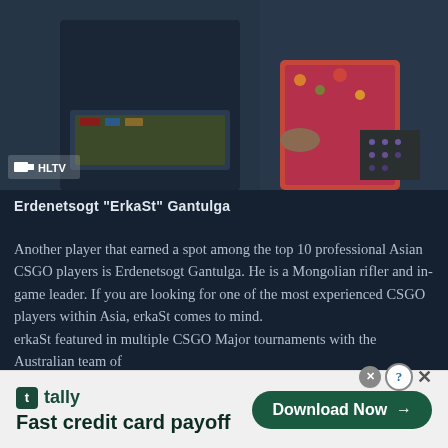[Figure (photo): Photo of Erdenetsogt ErkaSt Gantulga at a gaming setup, with HLTV watermark overlay in bottom-left corner]
Erdenetsogt "ErkaSt" Gantulga
Another player that earned a spot among the top 10 professional Asian CSGO players is Erdenetsogt Gantulga. He is a Mongolian rifler and in-game leader. If you are looking for one of the most experienced CSGO players within Asia, erkaSt comes to mind.
erkaSt featured in multiple CSGO Major tournaments with the Australian team of
[Figure (other): Tally app advertisement banner with Download Now button. Text: tally / Fast credit card payoff / Download Now]